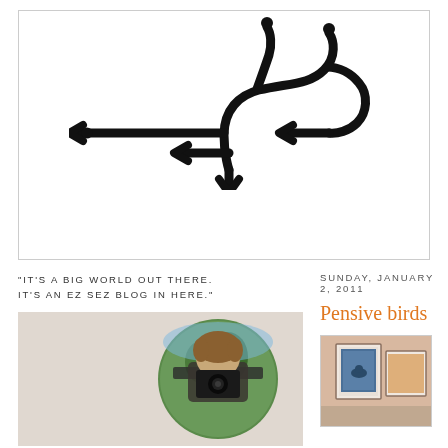[Figure (logo): EzSez.com logo with USB-like symbol arrows, bold black text 'EzSez.com', and green tagline 'A place to sneak away from the world and crawl into the world, art and/or mind of...']
"IT'S A BIG WORLD OUT THERE. IT'S AN EZ SEZ BLOG IN HERE."
SUNDAY, JANUARY 2, 2011
Pensive birds
[Figure (photo): Photo of a man with curly hair holding a camera up to his face, with a circular green nature overlay]
[Figure (photo): Partial photo visible in lower right, appears to show artwork on a wall with blue tones]